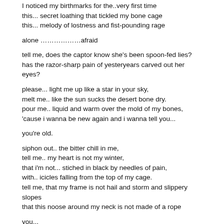I noticed my birthmarks for the..very first time
this... secret loathing that tickled my bone cage
this... melody of lostness and fist-pounding rage
alone ………………afraid
tell me, does the captor know she's been spoon-fed lies?
has the razor-sharp pain of yesteryears carved out her eyes?
please... light me up like a star in your sky,
melt me.. like the sun sucks the desert bone dry.
pour me.. liquid and warm over the mold of my bones,
'cause i wanna be new again and i wanna tell you...
you're old.
siphon out.. the bitter chill in me,
tell me.. my heart is not my winter,
that i'm not... stiched in black by needles of pain,
with.. icicles falling from the top of my cage.
tell me, that my frame is not hail and storm and slippery slopes
that this noose around my neck is not made of a rope
you...
should have told me about lingering in the story
and the.. seemingly endless journey through purgatory
you.. should've told me that my bones were brittle